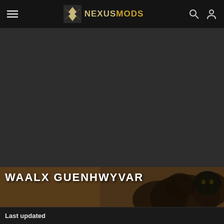NEXUSMODS
[Figure (screenshot): Dark grey empty area below nav bar]
WAALX GUENHWYVAR
Endorsements 86   Unique DLs 599   Total DLs 946   Total views 13,084   Version 1.0
Last updated